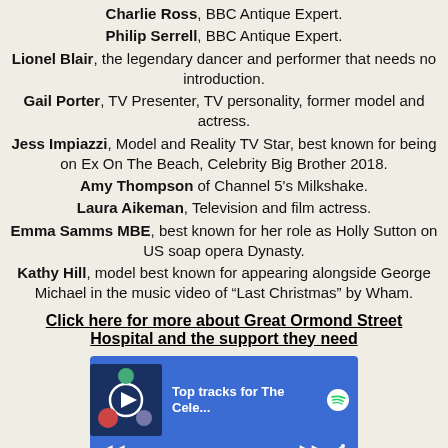Charlie Ross, BBC Antique Expert.
Philip Serrell, BBC Antique Expert.
Lionel Blair, the legendary dancer and performer that needs no introduction.
Gail Porter, TV Presenter, TV personality, former model and actress.
Jess Impiazzi, Model and Reality TV Star, best known for being on Ex On The Beach, Celebrity Big Brother 2018.
Amy Thompson of Channel 5's Milkshake.
Laura Aikeman, Television and film actress.
Emma Samms MBE, best known for her role as Holly Sutton on US soap opera Dynasty.
Kathy Hill, model best known for appearing alongside George Michael in the music video of "Last Christmas" by Wham.
Click here for more about Great Ormond Street Hospital and the support they need
[Figure (screenshot): Spotify player widget showing 'Top tracks for The Cele...' with a group photo thumbnail, play button, and playback controls on a blue background.]